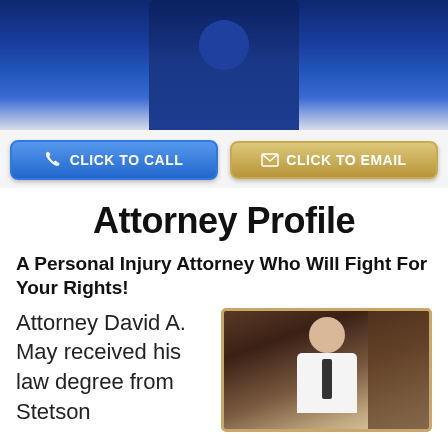[Figure (photo): Hero banner image showing a person in a suit, dark blue background, partial figure visible from waist down]
[Figure (infographic): Two buttons: 'CLICK TO CALL' (blue) and 'CLICK TO EMAIL' (gold/tan)]
Attorney Profile
A Personal Injury Attorney Who Will Fight For Your Rights!
Attorney David A. May received his law degree from Stetson
[Figure (photo): Portrait photo of Attorney David A. May in white shirt and tie, seated in front of dark wood bookcase]